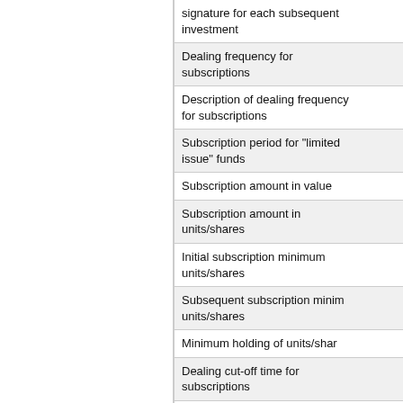|  | Field |
| --- | --- |
|  | signature for each subsequent investment |
|  | Dealing frequency for subscriptions |
|  | Description of dealing frequency for subscriptions |
|  | Subscription period for "limited issue" funds |
|  | Subscription amount in value |
|  | Subscription amount in units/shares |
|  | Initial subscription minimum units/shares |
|  | Subsequent subscription minimum units/shares |
|  | Minimum holding of units/shares |
|  | Dealing cut-off time for subscriptions |
|  | Settlement cycle for subscriptions |
Income/Distribution
Income accumulation